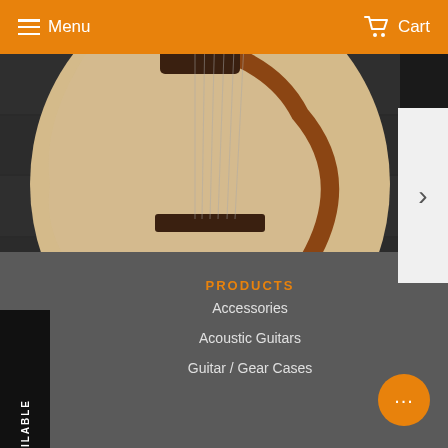Menu | Cart
[Figure (photo): Close-up photo of a La Mancha Rubi CM 53 classical guitar body on a dark wooden surface. Watermark reads © guitarpusher.com]
La Mancha Rubi CM 53 Classical Guitar 1/2
₱11,900.00
NOTIFY WHEN AVAILABLE
PRODUCTS
Accessories
Acoustic Guitars
Guitar / Gear Cases